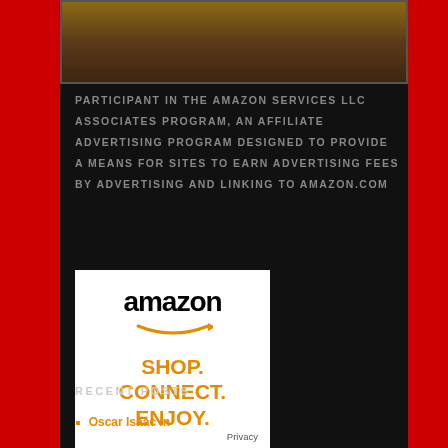[Figure (photo): Top portion of a photograph showing a person with reddish-brown hair, partially visible]
PARTICIPANT IN THE AMAZON SERVICES LLC ASSOCIATES PROGRAM, AN AFFILIATE ADVERTISING PROGRAM DESIGNED TO PROVIDE A MEANS FOR SITES TO EARN ADVERTISING FEES BY ADVERTISING AND LINKING TO AMAZON.COM
[Figure (logo): Amazon advertisement box with white background showing amazon logo, smile arrow, and text SHOP. CONNECT. ENJOY. with Privacy label in corner]
RECENT POSTS
Oscar Isaac in